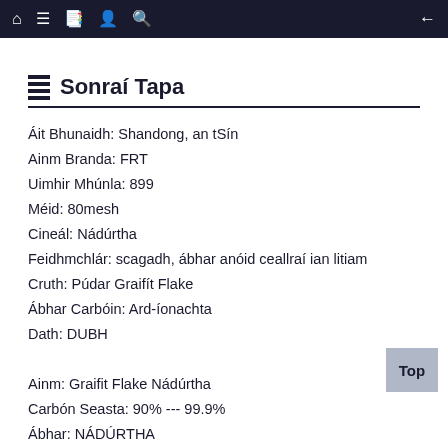Navigation bar with home, menu, book, user, search, and back icons
Sonraí Tapa
Áit Bhunaidh: Shandong, an tSín
Ainm Branda: FRT
Uimhir Mhúnla: 899
Méid: 80mesh
Cineál: Nádúrtha
Feidhmchlár: scagadh, ábhar anóid ceallraí ian litiam
Cruth: Púdar Graifít Flake
Ábhar Carbóin: Ard-íonachta
Dath: DUBH
Ainm: Graifit Flake Nádúrtha
Carbón Seasta: 90% --- 99.9%
Ábhar: NÁDÚRTHA
MOISTURE: 0.5% ar a mhéad
Pacáil: Mála Mór